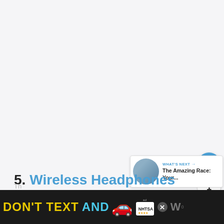[Figure (screenshot): Large blank/white content area, part of a webpage screenshot showing mostly empty space]
[Figure (screenshot): Sidebar UI buttons: blue heart/like button, count '1', and share button with plus icon]
[Figure (screenshot): WHAT'S NEXT card with circular photo thumbnail and text 'The Amazing Race: Your...']
5. Wireless Headphones
[Figure (screenshot): Advertisement banner at bottom: DON'T TEXT AND [car emoji] with NHTSA branding, close button, and partial text on dark background]